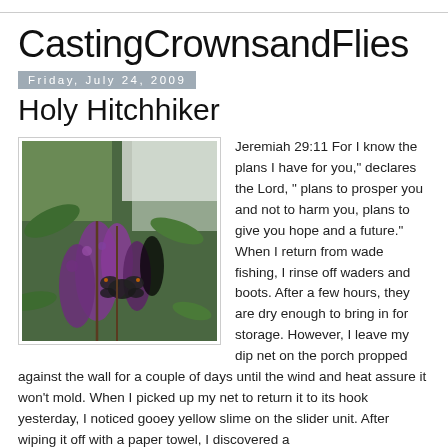CastingCrownsandFlies
Holy Hitchhiker
Friday, July 24, 2009
[Figure (photo): Photograph of purple butterfly bush flowers with a dark butterfly or moth feeding on the blooms, surrounded by green foliage.]
Jeremiah 29:11 For I know the plans I have for you," declares the Lord, " plans to prosper you and not to harm you, plans to give you hope and a future." When I return from wade fishing, I rinse off waders and boots. After a few hours, they are dry enough to bring in for storage. However, I leave my dip net on the porch propped against the wall for a couple of days until the wind and heat assure it won't mold. When I picked up my net to return it to its hook yesterday, I noticed gooey yellow slime on the slider unit. After wiping it off with a paper towel, I discovered a